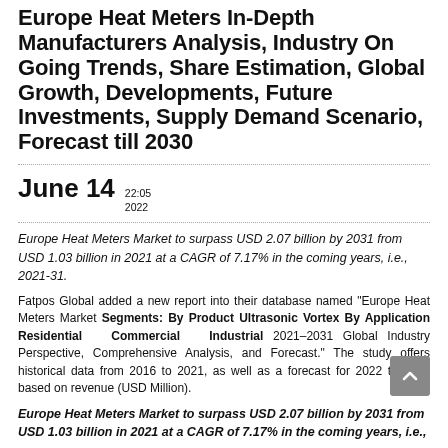Europe Heat Meters In-Depth Manufacturers Analysis, Industry On Going Trends, Share Estimation, Global Growth, Developments, Future Investments, Supply Demand Scenario, Forecast till 2030
June 14  22:05 2022
Europe Heat Meters Market to surpass USD 2.07 billion by 2031 from USD 1.03 billion in 2021 at a CAGR of 7.17% in the coming years, i.e., 2021-31.
Fatpos Global added a new report into their database named "Europe Heat Meters Market Segments: By Product Ultrasonic Vortex By Application Residential Commercial Industrial 2021–2031 Global Industry Perspective, Comprehensive Analysis, and Forecast." The study offers historical data from 2016 to 2021, as well as a forecast for 2022 to 2031 based on revenue (USD Million).
Europe Heat Meters Market to surpass USD 2.07 billion by 2031 from USD 1.03 billion in 2021 at a CAGR of 7.17% in the coming years, i.e.,